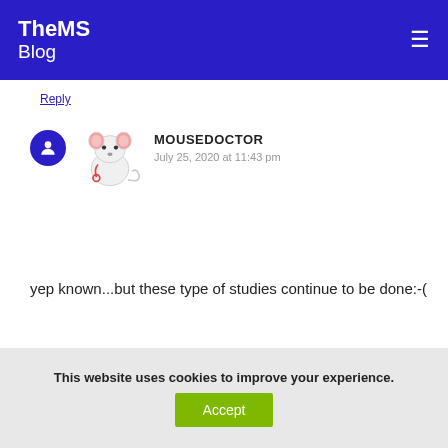TheMS Blog
Reply
MOUSEDOCTOR
July 25, 2020 at 11:43 pm
yep known...but these type of studies continue to be done:-(
Reply
This website uses cookies to improve your experience.
Accept